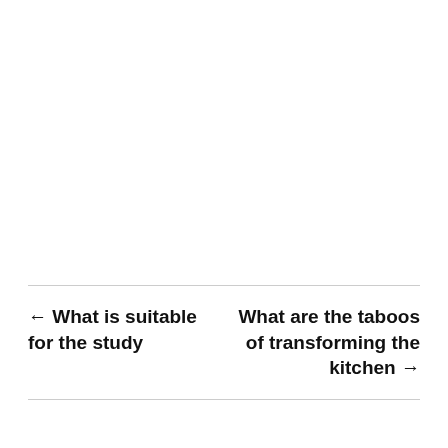← What is suitable for the study
What are the taboos of transforming the kitchen →